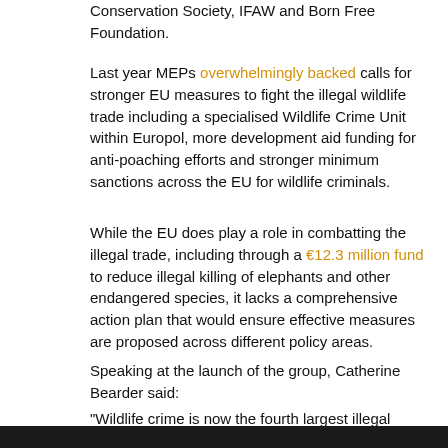Conservation Society, IFAW and Born Free Foundation.
Last year MEPs overwhelmingly backed calls for stronger EU measures to fight the illegal wildlife trade including a specialised Wildlife Crime Unit within Europol, more development aid funding for anti-poaching efforts and stronger minimum sanctions across the EU for wildlife criminals.
While the EU does play a role in combatting the illegal trade, including through a €12.3 million fund to reduce illegal killing of elephants and other endangered species, it lacks a comprehensive action plan that would ensure effective measures are proposed across different policy areas.
Speaking at the launch of the group, Catherine Bearder said:
"Wildlife crime is now the fourth largest illegal trade in the world...